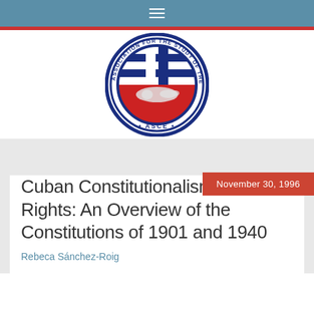≡
[Figure (logo): ASCE – Association for the Study of the Cuban Economy circular logo. Blue outer ring with text 'ASSOCIATION FOR THE STUDY OF THE CUBAN ECONOMY' and '• ASCE •' at the bottom. Inner circle shows a Cuban flag design (blue and white vertical stripes on top, red triangle on bottom) with a silhouette of Cuba in white.]
November 30, 1996
Cuban Constitutionalism and Rights: An Overview of the Constitutions of 1901 and 1940
Rebeca Sánchez-Roig